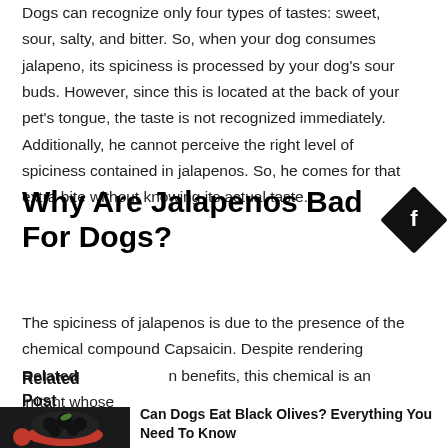Dogs can recognize only four types of tastes: sweet, sour, salty, and bitter. So, when your dog consumes jalapeno, its spiciness is processed by your dog's sour buds. However, since this is located at the back of your pet's tongue, the taste is not recognized immediately. Additionally, he cannot perceive the right level of spiciness contained in jalapenos. So, he comes for that extra bite without knowing its actual taste.
Why Are Jalapenos Bad For Dogs?
The spiciness of jalapenos is due to the presence of the chemical compound Capsaicin. Despite rendering benefits, this chemical is an irritant whose
Related Post
Can Dogs Eat Black Olives? Everything You Need To Know
Read more